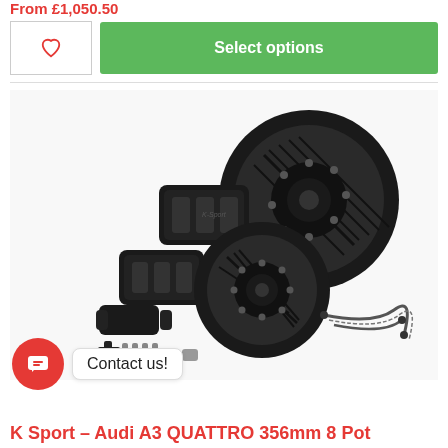From £1,050.50
[Figure (screenshot): Green 'Select options' button with a wishlist heart icon button beside it]
[Figure (photo): K Sport brake kit product photo showing two slotted black brake discs, two black multi-piston calipers, brake brackets, bolts, and braided brake lines on white background]
Contact us!
K Sport – Audi A3 QUATTRO 356mm 8 Pot